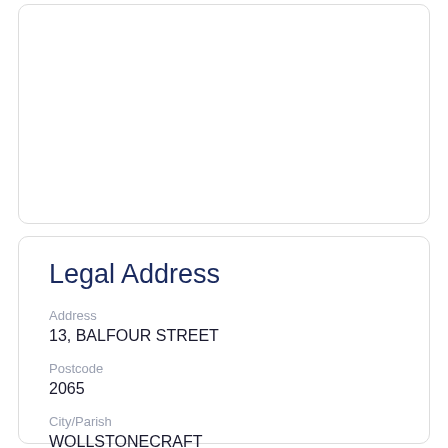Legal Address
Address
13, BALFOUR STREET
Postcode
2065
City/Parish
WOLLSTONECRAFT